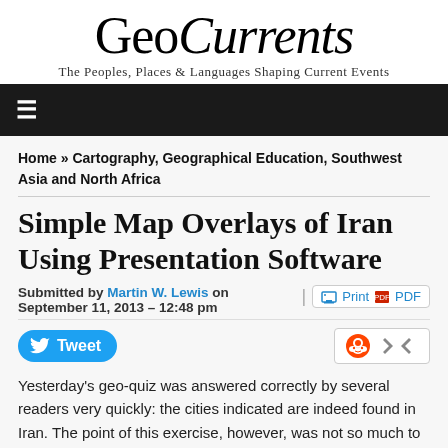[Figure (logo): GeoCurrents logo — large serif text 'GeoCurrents' with tagline 'The Peoples, Places & Languages Shaping Current Events']
≡ (hamburger navigation bar)
Home » Cartography, Geographical Education, Southwest Asia and North Africa
Simple Map Overlays of Iran Using Presentation Software
Submitted by Martin W. Lewis on September 11, 2013 – 12:48 pm
Print PDF
Tweet (social share buttons)
Yesterday's geo-quiz was answered correctly by several readers very quickly: the cities indicated are indeed found in Iran. The point of this exercise, however, was not so much to test knowledge but rather to introduce a simple manner of making and using map overlays,